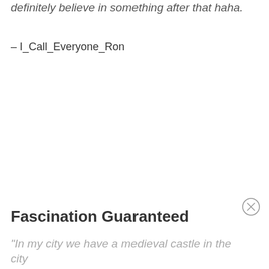definitely believe in something after that haha.
– I_Call_Everyone_Ron
Fascination Guaranteed
"In my city we have a medieval castle in the city